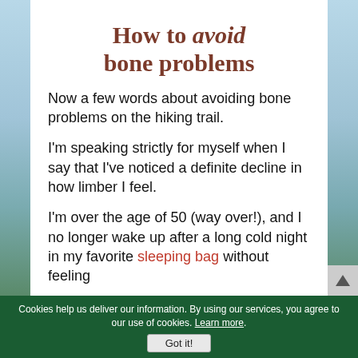How to avoid bone problems
Now a few words about avoiding bone problems on the hiking trail.
I'm speaking strictly for myself when I say that I've noticed a definite decline in how limber I feel.
I'm over the age of 50 (way over!), and I no longer wake up after a long cold night in my favorite sleeping bag without feeling
Cookies help us deliver our information. By using our services, you agree to our use of cookies. Learn more. Got it!